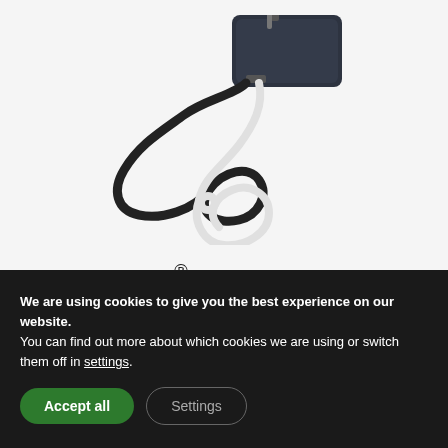[Figure (photo): Product photo of IOTSU Temp & Magnet LoRaWAN device showing a dark electronic module with black and white cables/wires coiled]
IOTSU® Temp & Magnet LoRaWAN®
We are using cookies to give you the best experience on our website.
You can find out more about which cookies we are using or switch them off in settings.